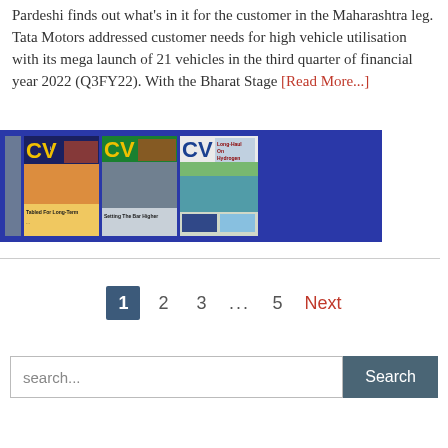Pardeshi finds out what's in it for the customer in the Maharashtra leg. Tata Motors addressed customer needs for high vehicle utilisation with its mega launch of 21 vehicles in the third quarter of financial year 2022 (Q3FY22). With the Bharat Stage [Read More...]
[Figure (photo): Dark blue banner showing four CV (Commercial Vehicle) magazine covers side by side]
1  2  3  ...  5  Next (pagination)
search... [Search button]